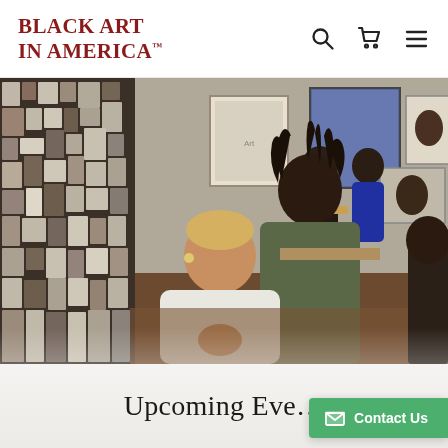BLACK ART IN AMERICA™
[Figure (photo): People viewing artwork in a gallery. Two viewers in the foreground — a woman with short blonde hair in a white sweater and a man with dreadlocks in an olive shirt — are looking at a large mosaic/collage artwork on the left wall. Other gallery visitors are visible in the background, and framed artworks hang on the walls.]
Upcoming Eve…